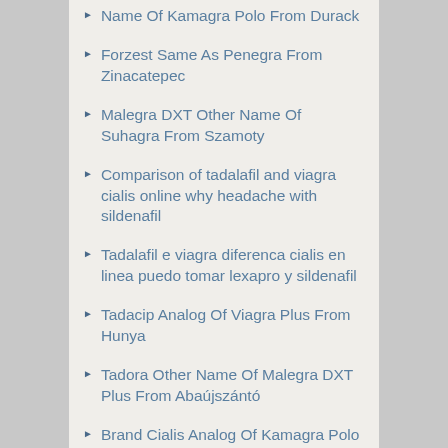Name Of Kamagra Polo From Durack
Forzest Same As Penegra From Zinacatepec
Malegra DXT Other Name Of Suhagra From Szamoty
Comparison of tadalafil and viagra cialis online why headache with sildenafil
Tadalafil e viagra diferenca cialis en linea puedo tomar lexapro y sildenafil
Tadacip Analog Of Viagra Plus From Hunya
Tadora Other Name Of Malegra DXT Plus From Abaújszántó
Brand Cialis Analog Of Kamagra Polo From Toronto
Caverta Analog Of Kamagra